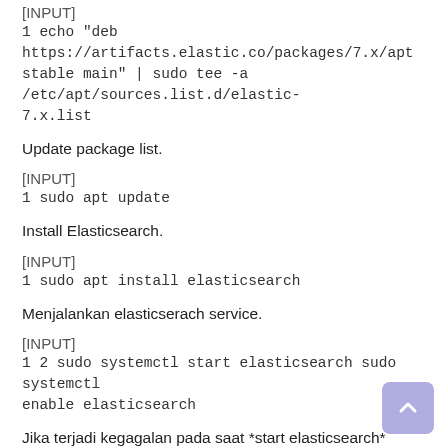[INPUT]
1 echo "deb https://artifacts.elastic.co/packages/7.x/apt stable main" | sudo tee -a /etc/apt/sources.list.d/elastic-7.x.list
Update package list.
[INPUT]
1 sudo apt update
Install Elasticsearch.
[INPUT]
1 sudo apt install elasticsearch
Menjalankan elasticserach service.
[INPUT]
1 2 sudo systemctl start elasticsearch sudo systemctl enable elasticsearch
Jika terjadi kegagalan pada saat *start elasticsearch*